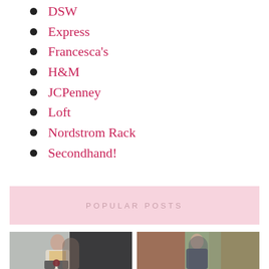DSW
Express
Francesca's
H&M
JCPenney
Loft
Nordstrom Rack
Secondhand!
POPULAR POSTS
[Figure (photo): Young woman standing in front of a gray brick wall and black slatted structure, wearing a colorful argyle vest over a white top, gray pants, and boots, holding a round burgundy bag]
[Figure (photo): Young woman standing outdoors near trees with autumn foliage, wearing a dark patterned dress]